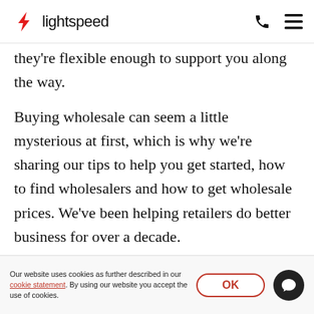lightspeed
they're flexible enough to support you along the way.
Buying wholesale can seem a little mysterious at first, which is why we're sharing our tips to help you get started, how to find wholesalers and how to get wholesale prices. We've been helping retailers do better business for over a decade.
Our website uses cookies as further described in our cookie statement. By using our website you accept the use of cookies.